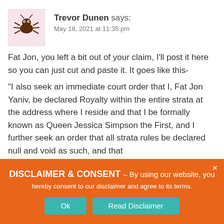[Figure (illustration): Avatar image of a spider/bug illustration on pink background]
Trevor Dunen says:
May 18, 2021 at 11:35 pm
Fat Jon, you left a bit out of your claim, I'll post it here so you can just cut and paste it. It goes like this-
“I also seek an immediate court order that I, Fat Jon Yaniv, be declared Royalty within the entire strata at the address where I reside and that I be formally known as Queen Jessica Simpson the First, and I further seek an order that all strata rules be declared null and void as such, and that
DISCLAIMER & CONSENT - By using our website, you hereby consent to our disclaimer and agree to its terms.
Ok
Read Disclaimer